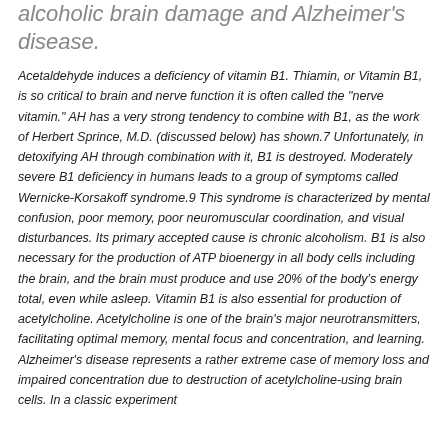alcoholic brain damage and Alzheimer's disease.
Acetaldehyde induces a deficiency of vitamin B1. Thiamin, or Vitamin B1, is so critical to brain and nerve function it is often called the "nerve vitamin." AH has a very strong tendency to combine with B1, as the work of Herbert Sprince, M.D. (discussed below) has shown.7 Unfortunately, in detoxifying AH through combination with it, B1 is destroyed. Moderately severe B1 deficiency in humans leads to a group of symptoms called Wernicke-Korsakoff syndrome.9 This syndrome is characterized by mental confusion, poor memory, poor neuromuscular coordination, and visual disturbances. Its primary accepted cause is chronic alcoholism. B1 is also necessary for the production of ATP bioenergy in all body cells including the brain, and the brain must produce and use 20% of the body's energy total, even while asleep. Vitamin B1 is also essential for production of acetylcholine. Acetylcholine is one of the brain's major neurotransmitters, facilitating optimal memory, mental focus and concentration, and learning. Alzheimer's disease represents a rather extreme case of memory loss and impaired concentration due to destruction of acetylcholine-using brain cells. In a classic experiment